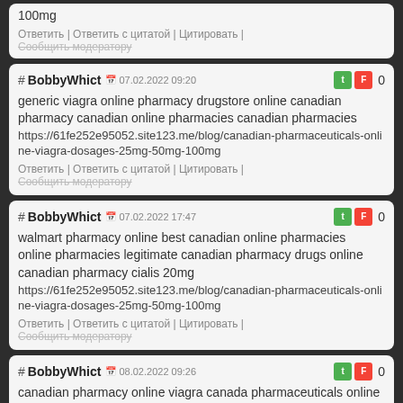100mg
Ответить | Ответить с цитатой | Цитировать | Сообщить модератору
# BobbyWhict 07.02.2022 09:20 0
generic viagra online pharmacy drugstore online canadian pharmacy canadian online pharmacies canadian pharmacies
https://61fe252e95052.site123.me/blog/canadian-pharmaceuticals-online-viagra-dosages-25mg-50mg-100mg
Ответить | Ответить с цитатой | Цитировать | Сообщить модератору
# BobbyWhict 07.02.2022 17:47 0
walmart pharmacy online best canadian online pharmacies
online pharmacies legitimate canadian pharmacy drugs online
canadian pharmacy cialis 20mg
https://61fe252e95052.site123.me/blog/canadian-pharmaceuticals-online-viagra-dosages-25mg-50mg-100mg
Ответить | Ответить с цитатой | Цитировать | Сообщить модератору
# BobbyWhict 08.02.2022 09:26 0
canadian pharmacy online viagra canada pharmaceuticals online
pills viagra pharmacy 100mg online order medicine pharmacies in canada
https://61fe252e95052.site123.me/blog/canadian-